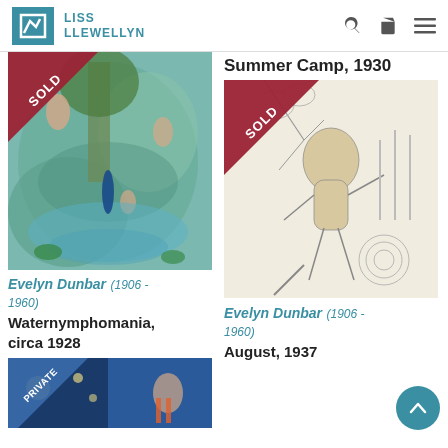LISS LLEWELLYN
[Figure (photo): Painting 'Waternymphomania circa 1928' by Evelyn Dunbar with SOLD ribbon banner]
Evelyn Dunbar (1906 - 1960)
Waternymphomania, circa 1928
[Figure (photo): Partial artwork at bottom left with PRIVATE ribbon banner]
Summer Camp, 1930
[Figure (photo): Pencil drawing 'Summer Camp 1930 / August 1937' by Evelyn Dunbar with SOLD ribbon banner]
Evelyn Dunbar (1906 - 1960)
August, 1937